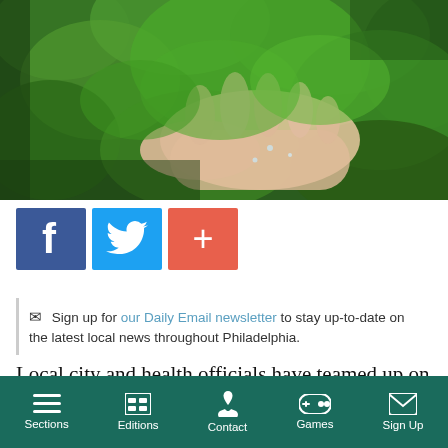[Figure (photo): Close-up photo of a person's hand holding or washing curly kale/leafy green vegetable under water, with vivid green color filling the frame.]
[Figure (infographic): Three social sharing buttons in a row: Facebook (dark blue, 'f'), Twitter (light blue, bird icon), and a plus/share button (orange-red, '+').]
Sign up for our Daily Email newsletter to stay up-to-date on the latest local news throughout Philadelphia.
Local city and health officials have teamed up on a new report that sheds light on Philadelphia’s growing “good food” economy.
Sections  Editions  Contact  Games  Sign Up